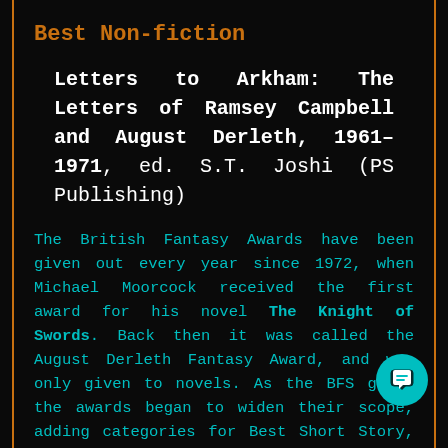Best Non-fiction
Letters to Arkham: The Letters of Ramsey Campbell and August Derleth, 1961–1971, ed. S.T. Joshi (PS Publishing)
The British Fantasy Awards have been given out every year since 1972, when Michael Moorcock received the first award for his novel The Knight of Swords. Back then it was called the August Derleth Fantasy Award, and was only given to novels. As the BFS grew, the awards began to widen their scope, adding categories for Best Short Story, Small Press, Art, Comics, Film, and more. In 2012, the best novel category was divided into best horror novel (the August Derleth Award)
[Figure (illustration): Teal circular chat icon button in bottom-right corner]